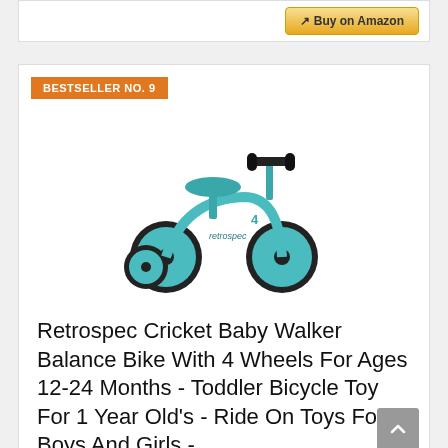[Figure (screenshot): Partial view of a product card with a Buy on Amazon button in the top right corner]
BESTSELLER NO. 9
[Figure (photo): Retrospec Cricket Baby Walker Balance Bike in teal/aqua color with 4 black wheels and black handlebar grips]
Retrospec Cricket Baby Walker Balance Bike With 4 Wheels For Ages 12-24 Months - Toddler Bicycle Toy For 1 Year Old's - Ride On Toys For Boys And Girls -